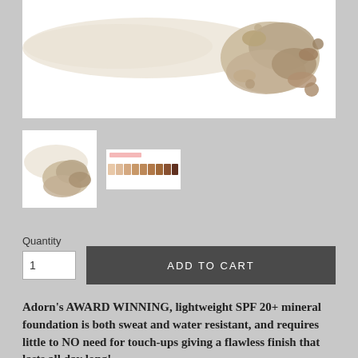[Figure (photo): Close-up photo of crushed beige/nude mineral powder foundation on white background, showing a powder swatch smear and crumbled powder]
[Figure (photo): Thumbnail of mineral powder foundation swatched on white background]
[Figure (photo): Thumbnail showing a row of color swatches in varying shades from light to dark]
Quantity
1
ADD TO CART
Adorn's AWARD WINNING, lightweight SPF 20+ mineral foundation is both sweat and water resistant, and requires little to NO need for touch-ups giving a flawless finish that lasts all day long!